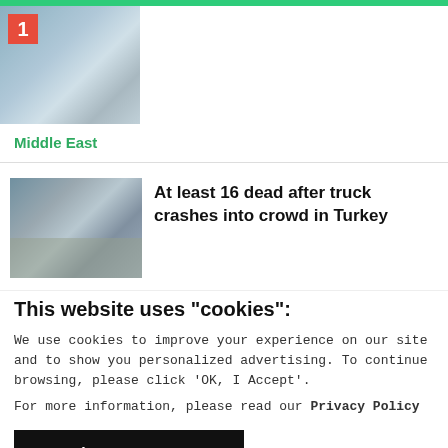[Figure (photo): Thumbnail photo of a person, partially visible, with a red number badge '1' in the top-left corner]
Middle East
[Figure (photo): News article thumbnail showing a crowd scene, likely a protest or emergency situation in Turkey]
At least 16 dead after truck crashes into crowd in Turkey
This website uses "cookies":
We use cookies to improve your experience on our site and to show you personalized advertising. To continue browsing, please click 'OK, I Accept'.
For more information, please read our Privacy Policy
Ok, I Accept